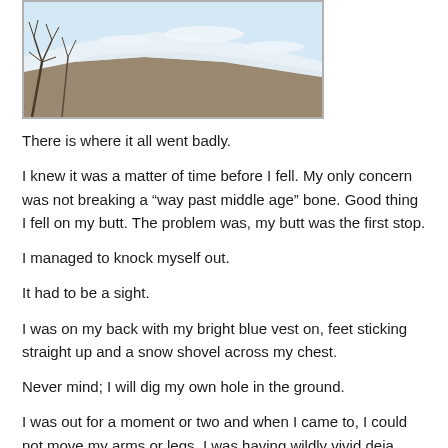[Figure (photo): Outdoor winter scene with snow-covered rocky slope or hillside, bare tree branches visible on the left, and blue sky in the background.]
There is where it all went badly.
I knew it was a matter of time before I fell. My only concern was not breaking a “way past middle age” bone. Good thing I fell on my butt. The problem was, my butt was the first stop.
I managed to knock myself out.
It had to be a sight.
I was on my back with my bright blue vest on, feet sticking straight up and a snow shovel across my chest.
Never mind; I will dig my own hole in the ground.
I was out for a moment or two and when I came to, I could not move my arms or legs. I was having wildly vivid deja vues that required me to stop and really examine them. None of them made any sense once I came to, but at the